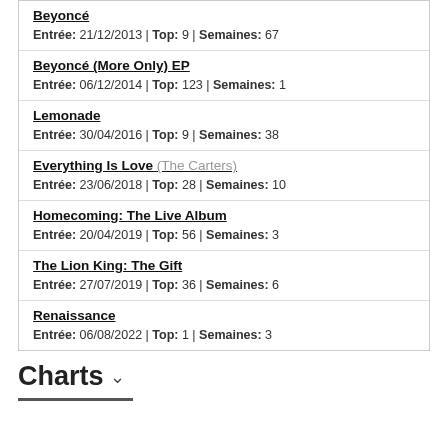Beyoncé | Entrée: 21/12/2013 | Top: 9 | Semaines: 67
Beyoncé (More Only) EP | Entrée: 06/12/2014 | Top: 123 | Semaines: 1
Lemonade | Entrée: 30/04/2016 | Top: 9 | Semaines: 38
Everything Is Love (The Carters) | Entrée: 23/06/2018 | Top: 28 | Semaines: 10
Homecoming: The Live Album | Entrée: 20/04/2019 | Top: 56 | Semaines: 3
The Lion King: The Gift | Entrée: 27/07/2019 | Top: 36 | Semaines: 6
Renaissance | Entrée: 06/08/2022 | Top: 1 | Semaines: 3
Charts